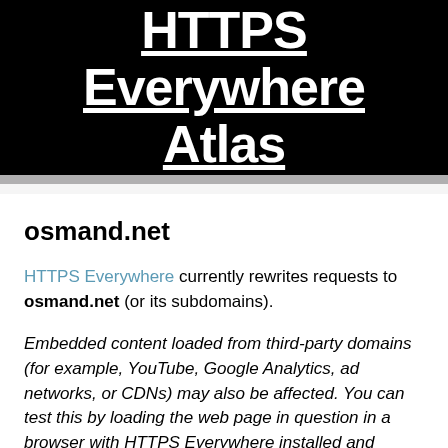HTTPS Everywhere Atlas
osmand.net
HTTPS Everywhere currently rewrites requests to osmand.net (or its subdomains).
Embedded content loaded from third-party domains (for example, YouTube, Google Analytics, ad networks, or CDNs) may also be affected. You can test this by loading the web page in question in a browser with HTTPS Everywhere installed and pulling down the